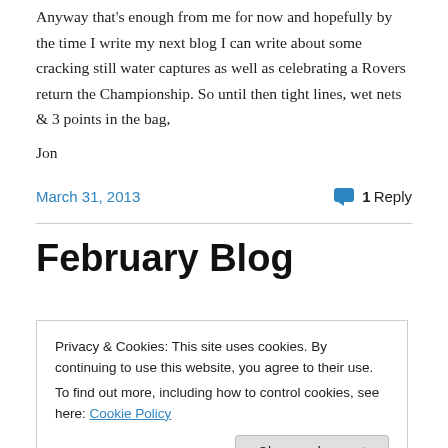Anyway that's enough from me for now and hopefully by the time I write my next blog I can write about some cracking still water captures as well as celebrating a Rovers return the Championship. So until then tight lines, wet nets & 3 points in the bag,
Jon
March 31, 2013   1 Reply
February Blog
Privacy & Cookies: This site uses cookies. By continuing to use this website, you agree to their use.
To find out more, including how to control cookies, see here: Cookie Policy
usual due to my mum being taken into hospital on Friday